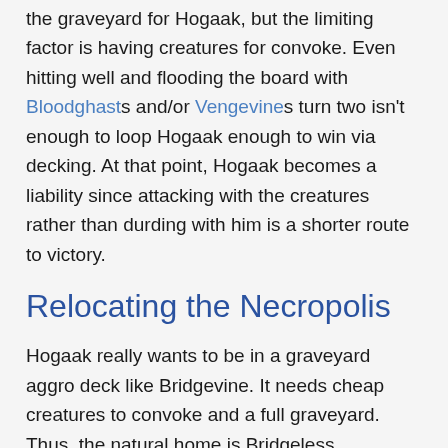the graveyard for Hogaak, but the limiting factor is having creatures for convoke. Even hitting well and flooding the board with Bloodghasts and/or Vengevines turn two isn't enough to loop Hogaak enough to win via decking. At that point, Hogaak becomes a liability since attacking with the creatures rather than durding with him is a shorter route to victory.
Relocating the Necropolis
Hogaak really wants to be in a graveyard aggro deck like Bridgevine. It needs cheap creatures to convoke and a full graveyard. Thus, the natural home is Bridgeless Bridgevine. Wizards believes that such a deck is possible.